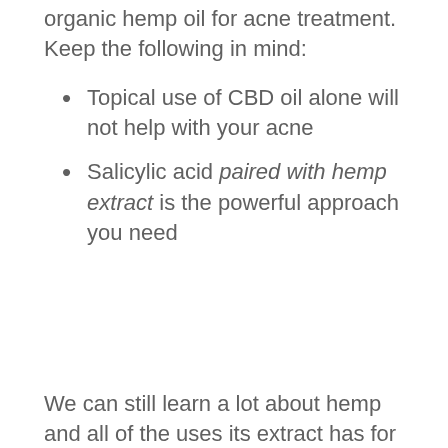organic hemp oil for acne treatment. Keep the following in mind:
Topical use of CBD oil alone will not help with your acne
Salicylic acid paired with hemp extract is the powerful approach you need
We can still learn a lot about hemp and all of the uses its extract has for us. As time goes by, I guarantee there will be more scientific studies on the benefits of hemp for the